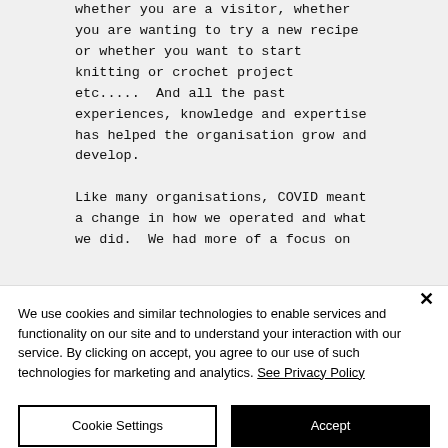whether you are a visitor, whether you are wanting to try a new recipe or whether you want to start knitting or crochet project etc.....  And all the past experiences, knowledge and expertise has helped the organisation grow and develop.

Like many organisations, COVID meant a change in how we operated and what we did.  We had more of a focus on
We use cookies and similar technologies to enable services and functionality on our site and to understand your interaction with our service. By clicking on accept, you agree to our use of such technologies for marketing and analytics. See Privacy Policy
Cookie Settings
Accept